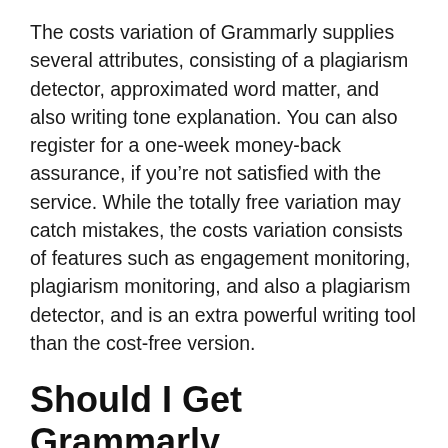The costs variation of Grammarly supplies several attributes, consisting of a plagiarism detector, approximated word matter, and also writing tone explanation. You can also register for a one-week money-back assurance, if you're not satisfied with the service. While the totally free variation may catch mistakes, the costs variation consists of features such as engagement monitoring, plagiarism monitoring, and also a plagiarism detector, and is an extra powerful writing tool than the cost-free version.
Should I Get Grammarly
If you're trying to find an automatic grammar mosaic, you may want to attempt